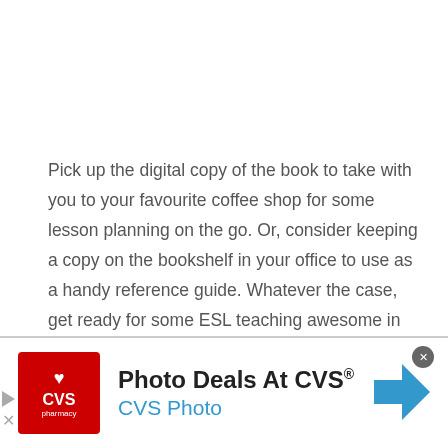Pick up the digital copy of the book to take with you to your favourite coffee shop for some lesson planning on the go. Or, consider keeping a copy on the bookshelf in your office to use as a handy reference guide. Whatever the case, get ready for some ESL teaching awesome in your life.
[Figure (other): Advertisement banner for CVS Photo Deals. Shows CVS Pharmacy logo in red square on left, text 'Photo Deals At CVS®' in bold black and 'CVS Photo' in blue, navigation arrow icon on right, play/skip controls on far left edge.]